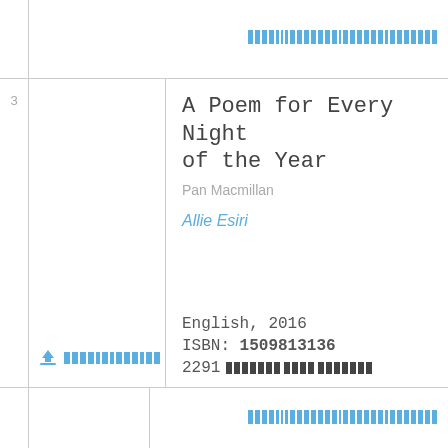[Figure (other): Redacted barcode/identifier in blue pixel blocks]
3
A Poem for Every Night of the Year
Pan Macmillan
Allie Esiri
[Figure (other): Upload icon with redacted label in blue]
English, 2016
ISBN: 1509813136
2291 [redacted copies label]
[Figure (other): Redacted barcode/identifier in blue pixel blocks]
4
Mythopedia: An Encyclopedia of Mythical